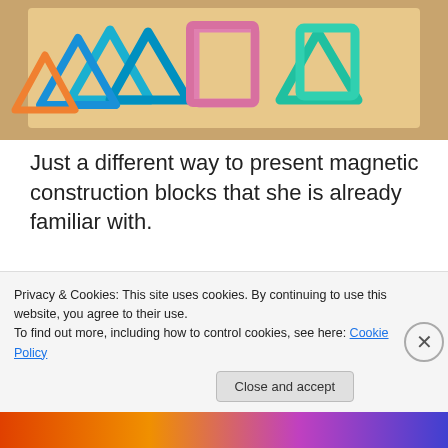[Figure (photo): Top portion of a photo showing colorful magnetic construction blocks (triangles and squares in blue, pink, green, teal) arranged on a wooden tray]
Just a different way to present magnetic construction blocks that she is already familiar with.
[Figure (photo): Three photos of a young child in a purple cardigan playing with small objects at a table. Left large photo shows child focused on sorting or stacking items. Top right photo shows child reaching across a table smiling. Bottom right photo shows a tray with objects on the table.]
Privacy & Cookies: This site uses cookies. By continuing to use this website, you agree to their use.
To find out more, including how to control cookies, see here: Cookie Policy
Close and accept